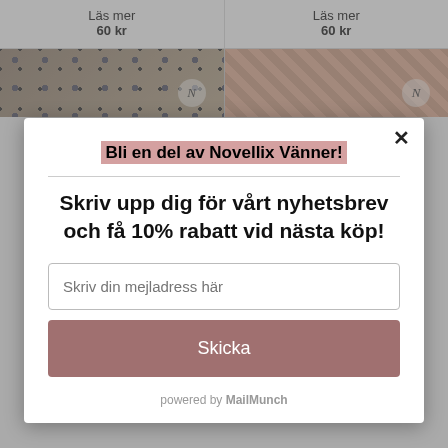Läs mer
60 kr
Läs mer
60 kr
[Figure (photo): Two product images showing patterned fabric/book covers with Novellix N badge]
Bli en del av Novellix Vänner!
Skriv upp dig för vårt nyhetsbrev och få 10% rabatt vid nästa köp!
Skriv din mejladress här
Skicka
powered by MailMunch